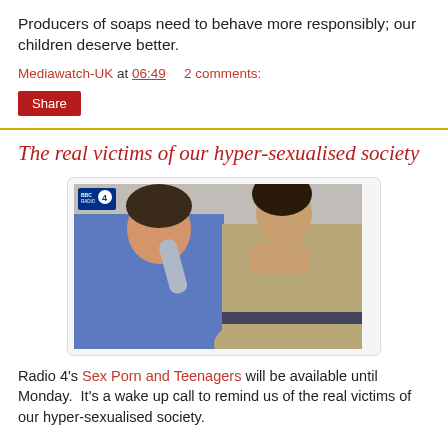Producers of soaps need to behave more responsibly; our children deserve better.
Mediawatch-UK at 06:49   2 comments:
Share
The real victims of our hyper-sexualised society
[Figure (photo): Two young people, a male in a blue hoodie and a female in a beige top, photographed together with a BBC Radio 4 logo badge in the top left corner.]
Radio 4's Sex Porn and Teenagers will be available until Monday.  It's a wake up call to remind us of the real victims of our hyper-sexualised society.